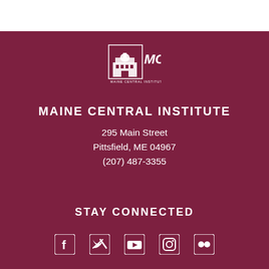[Figure (logo): MCI (Maine Central Institute) logo with building icon and text 'Maine Central Institute']
MAINE CENTRAL INSTITUTE
295 Main Street
Pittsfield, ME 04967
(207) 487-3355
STAY CONNECTED
[Figure (infographic): Social media icons: Facebook, Twitter, YouTube, Instagram, Flickr]